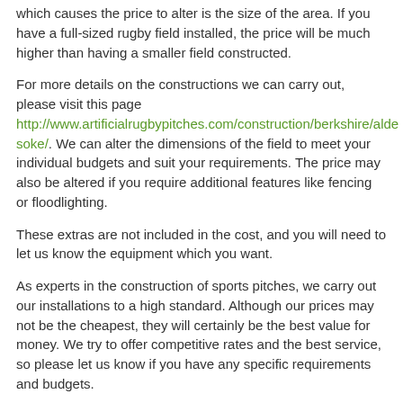which causes the price to alter is the size of the area. If you have a full-sized rugby field installed, the price will be much higher than having a smaller field constructed.
For more details on the constructions we can carry out, please visit this page http://www.artificialrugbypitches.com/construction/berkshire/aldesoke/. We can alter the dimensions of the field to meet your individual budgets and suit your requirements. The price may also be altered if you require additional features like fencing or floodlighting.
These extras are not included in the cost, and you will need to let us know the equipment which you want.
As experts in the construction of sports pitches, we carry out our installations to a high standard. Although our prices may not be the cheapest, they will certainly be the best value for money. We try to offer competitive rates and the best service, so please let us know if you have any specific requirements and budgets.
How Long Does A 3G Rugby Pitch Last For?